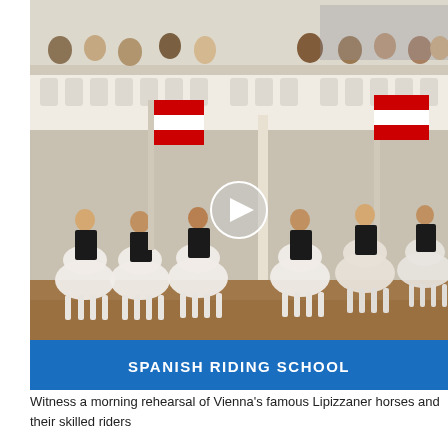[Figure (photo): Riders in black uniforms on white Lipizzaner horses performing at the Spanish Riding School in Vienna, with a white ornate balcony full of spectators in the background. Red and white Austrian flags are carried by some riders. A play button overlay is visible on the image.]
SPANISH RIDING SCHOOL
Witness a morning rehearsal of Vienna's famous Lipizzaner horses and their skilled riders
[Figure (photo): Two ornate Baroque church towers with green copper domes against a bright blue sky, with a play button overlay visible.]